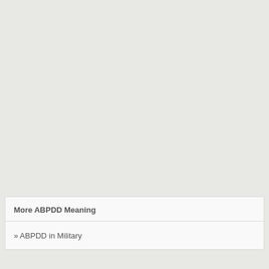More ABPDD Meaning
» ABPDD in Military